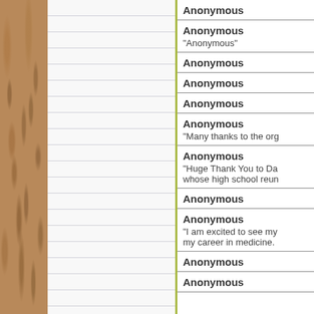Anonymous
Anonymous
"Anonymous"
Anonymous
Anonymous
Anonymous
Anonymous
"Many thanks to the org
Anonymous
"Huge Thank You to Da whose high school reun
Anonymous
Anonymous
"I am excited to see my my career in medicine.
Anonymous
Anonymous